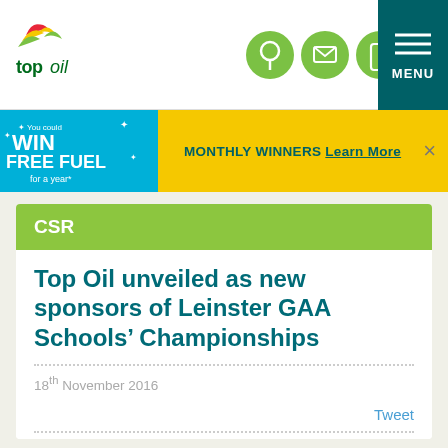[Figure (logo): Top Oil logo with colorful wing/flame swoosh graphic and 'top oil' text in green]
[Figure (infographic): Navigation header icons: location pin, message/email, mobile phone on green circles; dark teal MENU button]
[Figure (infographic): Promotional banner: blue panel 'You could WIN FREE FUEL for a year*' on yellow background with 'MONTHLY WINNERS Learn More' and close button]
CSR
Top Oil unveiled as new sponsors of Leinster GAA Schools’ Championships
18th November 2016
Tweet